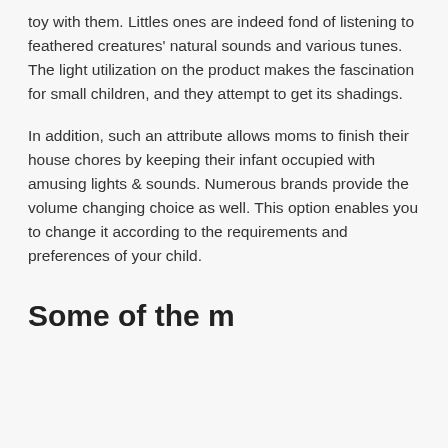toy with them. Littles ones are indeed fond of listening to feathered creatures' natural sounds and various tunes. The light utilization on the product makes the fascination for small children, and they attempt to get its shadings.
In addition, such an attribute allows moms to finish their house chores by keeping their infant occupied with amusing lights & sounds. Numerous brands provide the volume changing choice as well. This option enables you to change it according to the requirements and preferences of your child.
Some of the most